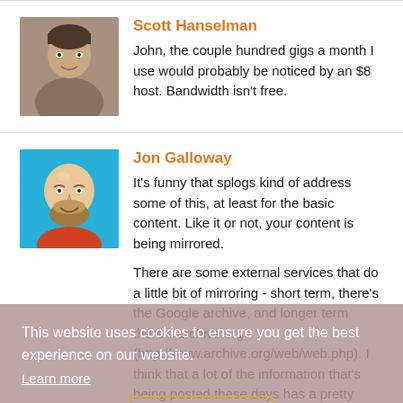[Figure (photo): Avatar photo of Scott Hanselman, a man with short hair]
Scott Hanselman
John, the couple hundred gigs a month I use would probably be noticed by an $8 host. Bandwidth isn't free.
[Figure (illustration): Avatar illustration of Jon Galloway, a bald man with a beard on a blue background]
Jon Galloway
It's funny that splogs kind of address some of this, at least for the basic content. Like it or not, your content is being mirrored.

There are some external services that do a little bit of mirroring - short term, there's the Google archive, and longer term there's archive.org (http://www.archive.org/web/web.php). I think that a lot of the information that's being posted these days has a pretty short expiration date, anyhow - how necessary is if for us to read your (then cutting
This website uses cookies to ensure you get the best experience on our website.
Learn more
Got it!